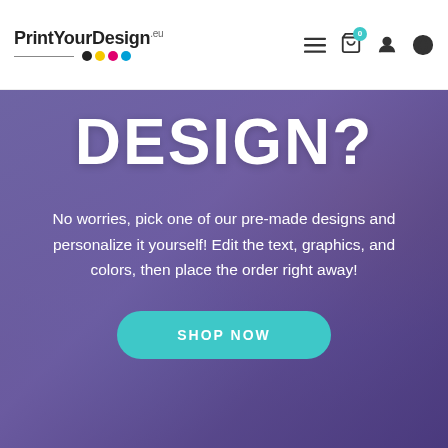PrintYourDesign.eu — navigation bar with logo, cart (0), user, language icons
DESIGN?
No worries, pick one of our pre-made designs and personalize it yourself! Edit the text, graphics, and colors, then place the order right away!
[Figure (screenshot): Hero section with purple-overlay background of hands working with color swatches and a SHOP NOW call-to-action button]